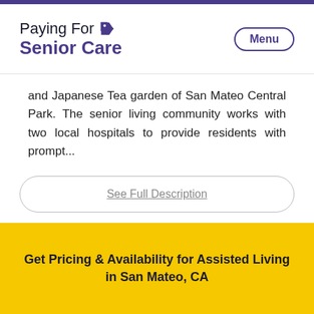Paying For Senior Care
and Japanese Tea garden of San Mateo Central Park. The senior living community works with two local hospitals to provide residents with prompt...
See Full Description
Request a Call
Get Pricing & Availability for Assisted Living in San Mateo, CA